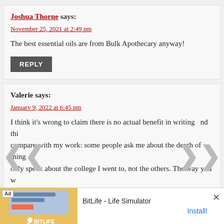Joshua Thorne says:
November 25, 2021 at 2:49 pm
The best essential oils are from Bulk Apothecary anyway!
REPLY
Valerie says:
January 9, 2022 at 6:45 pm
I think it's wrong to claim there is no actual benefit in writing and thinking to compare with my work: some people ask me about the depth of things, but I can only speak about the college I went to, not the others. The way you would say I want to judge Yale, but I really preferred going to Harvard". I have issues especially when one thing is negatively described in the favor of someone's interest in trying to destroy a company, product, or whatever, and then comparing it to another very distinct company. You wish to spea
[Figure (infographic): BitLife Life Simulator advertisement banner with orange/yellow background, Ad badge, sperm icon logo, app name and Install button]